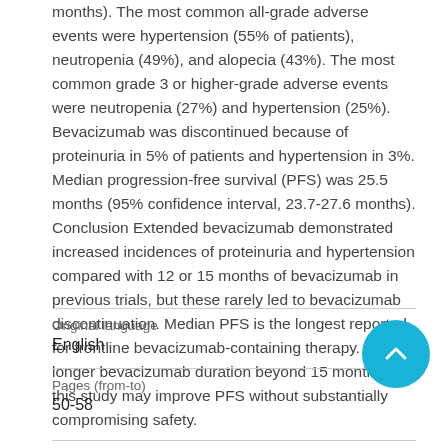months). The most common all-grade adverse events were hypertension (55% of patients), neutropenia (49%), and alopecia (43%). The most common grade 3 or higher-grade adverse events were neutropenia (27%) and hypertension (25%). Bevacizumab was discontinued because of proteinuria in 5% of patients and hypertension in 3%. Median progression-free survival (PFS) was 25.5 months (95% confidence interval, 23.7-27.6 months). Conclusion Extended bevacizumab demonstrated increased incidences of proteinuria and hypertension compared with 12 or 15 months of bevacizumab in previous trials, but these rarely led to bevacizumab discontinuation. Median PFS is the longest reported for frontline bevacizumab-containing therapy. The longer bevacizumab duration beyond 15 months in this study may improve PFS without substantially compromising safety.
Original language
English
Pages (from-to)
50-58